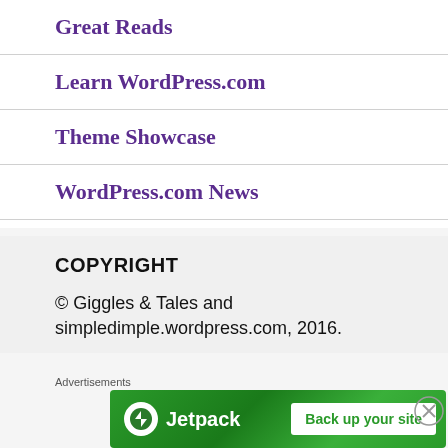Great Reads
Learn WordPress.com
Theme Showcase
WordPress.com News
COPYRIGHT
© Giggles & Tales and simpledimple.wordpress.com, 2016.
Advertisements
[Figure (infographic): Jetpack advertisement banner with green background, Jetpack logo on the left and 'Back up your site' button on the right]